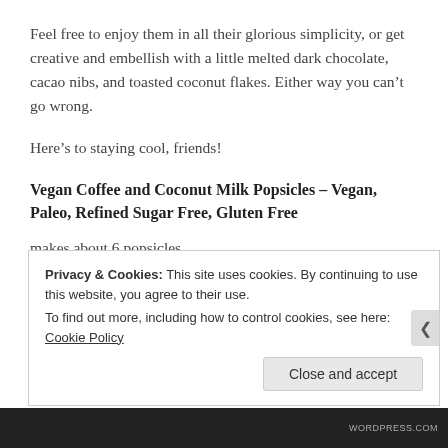Feel free to enjoy them in all their glorious simplicity, or get creative and embellish with a little melted dark chocolate, cacao nibs, and toasted coconut flakes. Either way you can’t go wrong.
Here’s to staying cool, friends!
Vegan Coffee and Coconut Milk Popsicles – Vegan, Paleo, Refined Sugar Free, Gluten Free
makes about 6 popsicles
Privacy & Cookies: This site uses cookies. By continuing to use this website, you agree to their use.
To find out more, including how to control cookies, see here: Cookie Policy
Close and accept